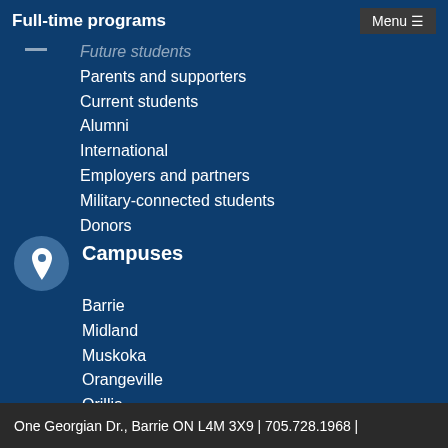Full-time programs
Future students
Parents and supporters
Current students
Alumni
International
Employers and partners
Military-connected students
Donors
Campuses
Barrie
Midland
Muskoka
Orangeville
Orillia
Owen Sound
South Georgian Bay
One Georgian Dr., Barrie ON L4M 3X9 | 705.728.1968 |